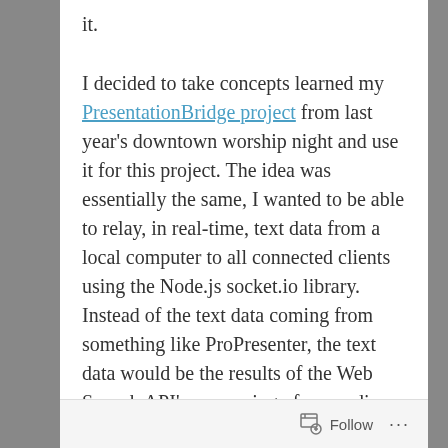it.
I decided to take concepts learned my PresentationBridge project from last year's downtown worship night and use it for this project. The idea was essentially the same, I wanted to be able to relay, in real-time, text data from a local computer to all connected clients using the Node.js socket.io library. Instead of the text data coming from something like ProPresenter, the text data would be the results of the Web Speech API's processing of my audio source.
If you're a Google Chrome user, Chrome has
Follow ...